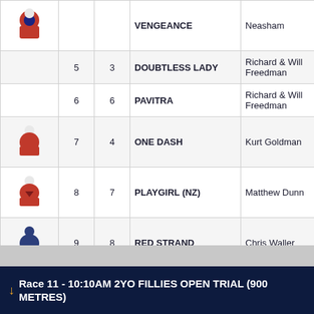| Silk | # | Barrier | Horse | Trainer | Jockey |
| --- | --- | --- | --- | --- | --- |
| [silk] |  |  | VENGEANCE | Neasham | Sherry |
|  | 5 | 3 | DOUBTLESS LADY | Richard & Will Freedman | Kerrin McEvoy |
| [silk] | 6 | 6 | PAVITRA | Richard & Will Freedman | William Pike |
| [silk] | 7 | 4 | ONE DASH | Kurt Goldman | Sam Clipperton |
| [silk] | 8 | 7 | PLAYGIRL (NZ) | Matthew Dunn | Keagan Latham |
| [silk] | 9 | 8 | RED STRAND | Chris Waller | Tim Clark |
Race 11 - 10:10AM 2YO FILLIES OPEN TRIAL (900 METRES)